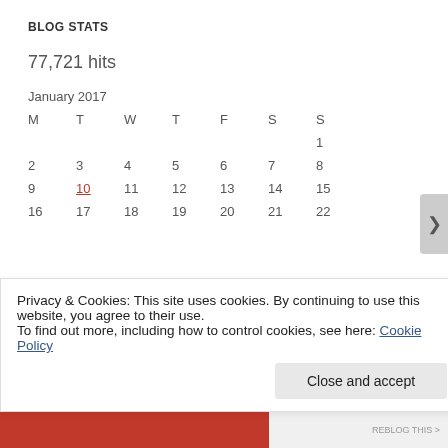BLOG STATS
77,721 hits
| M | T | W | T | F | S | S |
| --- | --- | --- | --- | --- | --- | --- |
|  |  |  |  |  |  | 1 |
| 2 | 3 | 4 | 5 | 6 | 7 | 8 |
| 9 | 10 | 11 | 12 | 13 | 14 | 15 |
| 16 | 17 | 18 | 19 | 20 | 21 | 22 |
Privacy & Cookies: This site uses cookies. By continuing to use this website, you agree to their use.
To find out more, including how to control cookies, see here: Cookie Policy
Close and accept